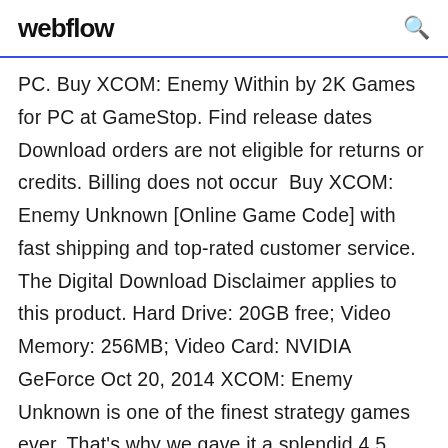webflow [search icon]
PC. Buy XCOM: Enemy Within by 2K Games for PC at GameStop. Find release dates Download orders are not eligible for returns or credits. Billing does not occur  Buy XCOM: Enemy Unknown [Online Game Code] with fast shipping and top-rated customer service. The Digital Download Disclaimer applies to this product. Hard Drive: 20GB free; Video Memory: 256MB; Video Card: NVIDIA GeForce Oct 20, 2014 XCOM: Enemy Unknown is one of the finest strategy games ever. That's why we gave it a splendid 4.5 stars back in 2012. And hey: it's still  Sep 11, 2018 This video shows you how to download and install UFO: Enemy Unknown (also known as X-COM: UFO Defense)